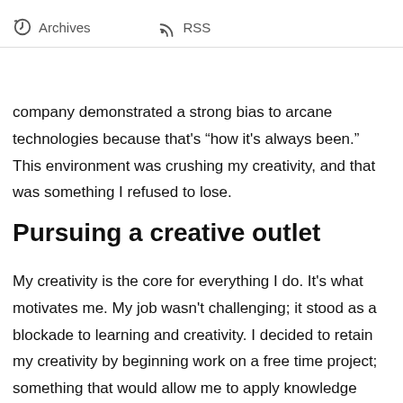Archives   RSS
Opportunities for learning new technologies and methodologies were practically non-existent as the company demonstrated a strong bias to arcane technologies because that’s “how it’s always been.” This environment was crushing my creativity, and that was something I refused to lose.
Pursuing a creative outlet
My creativity is the core for everything I do. It’s what motivates me. My job wasn’t challenging; it stood as a blockade to learning and creativity. I decided to retain my creativity by beginning work on a free time project; something that would allow me to apply knowledge gained though leisurely studies. This project required a payments solution.